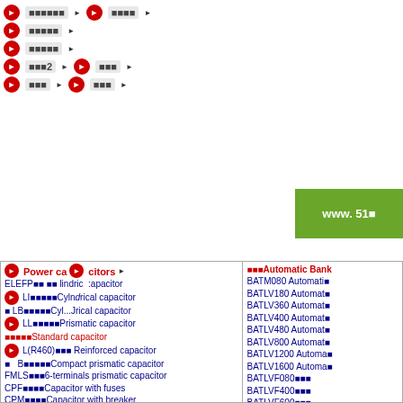Navigation menu with product categories
Power capacitors - ELEFP Cylindrical capacitor, LI Cylindrical capacitor, LB Cylindrical capacitor, LL Prismatic capacitor, L Standard capacitor, L(R460) Reinforced capacitor, B Compact prismatic capacitor, FMLS 6-terminals prismatic capacitor, CPF Capacitor with fuses, CPM Capacitor with breaker, CAB Capacitor with fuse and contactor
Harmonic filters - HBF-T Third harmonic filter, TFA Third harmonic isolation, HAF Absorption filter, HPF High pass filter, SINAF 2.0 Active filter
KML Contactor for Capacitors
Automatic Bank - BATM080, BATLV180, BATLV360, BATLV400, BATLV480, BATLV800, BATLV1200, BATLV1600, BATLVF080, BATLVF400, BATLVF600, BATLVF800, BATLVF1000, BATLVF1200, BATLVFS400 Th, BATLVFS600 Th, BATLVFS800 Th, BATLVFS1000 T, BATLVFS1200 T
LIFASA